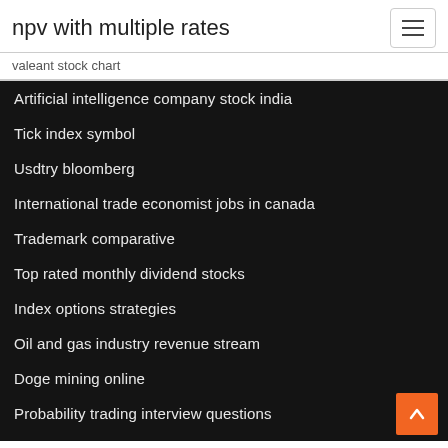npv with multiple rates
valeant stock chart
Artificial intelligence company stock india
Tick index symbol
Usdtry bloomberg
International trade economist jobs in canada
Trademark comparative
Top rated monthly dividend stocks
Index options strategies
Oil and gas industry revenue stream
Doge mining online
Probability trading interview questions